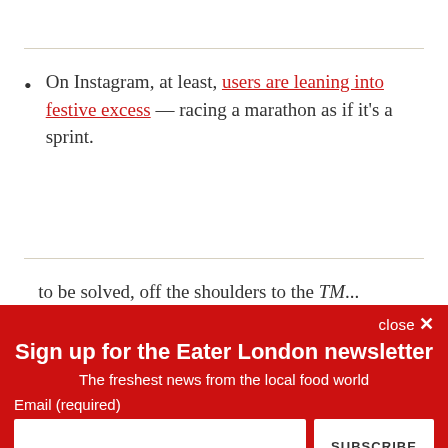On Instagram, at least, users are leaning into festive excess — racing a marathon as if it's a sprint.
[truncated text visible at bottom of article]
Sign up for the Eater London newsletter
The freshest news from the local food world
Email (required)
By submitting your email, you agree to our Terms and Privacy Notice. You can opt out at any time. This site is protected by reCAPTCHA and the Google Privacy Policy and Terms of Service apply.